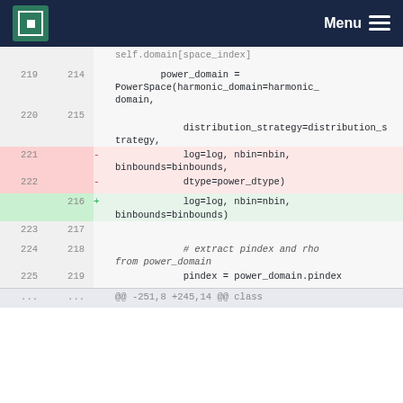MPCDF Menu
Code diff showing changes to PowerSpace constructor call, removing dtype=power_dtype parameter
| old | new | diff | code |
| --- | --- | --- | --- |
| 219 | 214 |  |         power_domain =
PowerSpace(harmonic_domain=harmonic_domain, |
| 220 | 215 |  |             distribution_strategy=distribution_strategy, |
| 221 |  | - |             log=log, nbin=nbin,
binbounds=binbounds, |
| 222 |  | - |             dtype=power_dtype) |
|  | 216 | + |             log=log, nbin=nbin,
binbounds=binbounds) |
| 223 | 217 |  |  |
| 224 | 218 |  |             # extract pindex and rho
from power_domain |
| 225 | 219 |  |             pindex = power_domain.pindex |
| ... | ... |  | @@ -251,8 +245,14 @@ class |